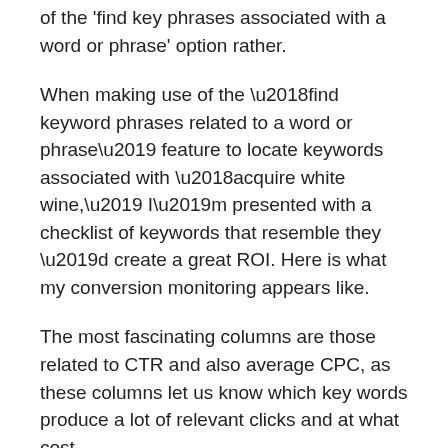of the 'find key phrases associated with a word or phrase' option rather.
When making use of the ‘find keyword phrases related to a word or phrase’ feature to locate keywords associated with ‘acquire white wine,’ I’m presented with a checklist of keywords that resemble they ’d create a great ROI. Here is what my conversion monitoring appears like.
The most fascinating columns are those related to CTR and also average CPC, as these columns let us know which key words produce a lot of relevant clicks and at what cost.
The search quantity info is helpful as well, however only to a particular level.